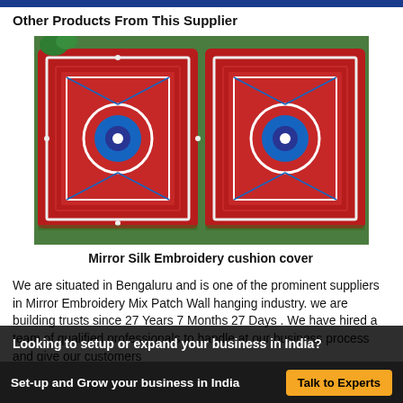Other Products From This Supplier
[Figure (photo): Two decorative cushions with red and blue mirror silk embroidery pattern, placed on a green surface]
Mirror Silk Embroidery cushion cover
We are situated in Bengaluru and is one of the prominent suppliers in Mirror Embroidery Mix Patch Wall hanging industry. we are building trusts since 27 Years 7 Months 27 Days . We have hired a team of qualified professionals to handle at our business process and give our customers
Looking to setup or expand your business in India?
Set-up and Grow your business in India  Talk to Experts